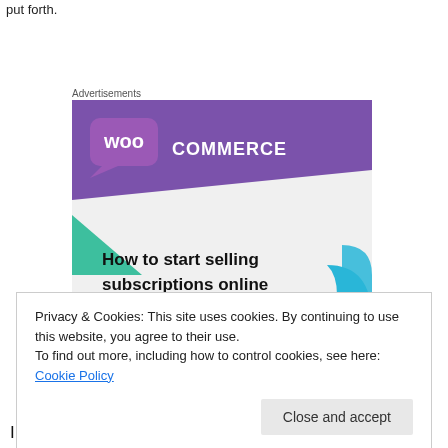put forth.
Advertisements
[Figure (illustration): WooCommerce advertisement showing purple branded header with WooCommerce logo, teal and blue decorative shapes, and text reading 'How to start selling subscriptions online']
Privacy & Cookies: This site uses cookies. By continuing to use this website, you agree to their use.
To find out more, including how to control cookies, see here: Cookie Policy
Close and accept
I wrote a column for Global Times for a year-and-a-half